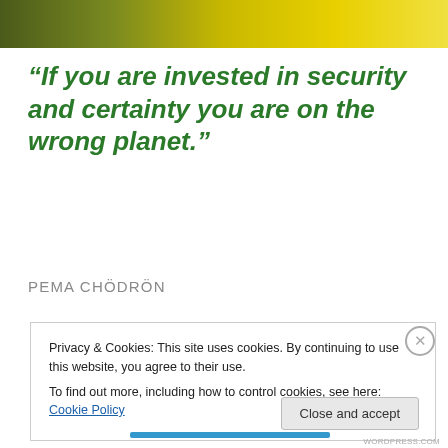[Figure (photo): Partial photo of fruit (appears to be bananas or similar yellow-green produce) at the top of the page, showing green and yellow tones]
“If you are invested in security and certainty you are on the wrong planet.”
PEMA CHÖDRÖN
Privacy & Cookies: This site uses cookies. By continuing to use this website, you agree to their use.
To find out more, including how to control cookies, see here: Cookie Policy